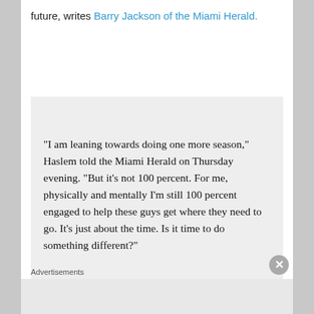future, writes Barry Jackson of the Miami Herald.
“I am leaning towards doing one more season,” Haslem told the Miami Herald on Thursday evening. “But it’s not 100 percent. For me, physically and mentally I’m still 100 percent engaged to help these guys get where they need to go. It’s just about the time. Is it time to do something different?”
Advertisements